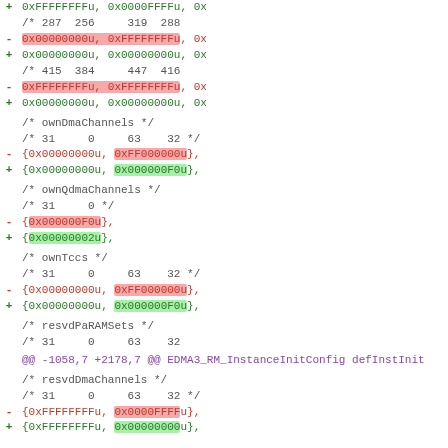Diff/patch view of EDMA3 RM configuration file showing changes to ownDmaChannels, ownQdmaChannels, ownTccs, resvdPaRAMSets, and resvdDmaChannels fields
+ 0xFFFFFFFFu, 0x0000FFFFu, 0x...
/* 287 256   319 288 */
- 0x00000000u, 0xFFFFFFFFu, 0x...
+ 0x00000000u, 0x00000000u, 0x...
/* 415 384   447 416 */
- 0xFFFFFFFFu, 0xFFFFFFFFu, 0x...
+ 0x00000000u, 0x00000000u, 0x...
/* ownDmaChannels */
/* 31   0   63  32 */
- {0x00000000u, 0xFF000000u},
+ {0x00000000u, 0x000000F0u},
/* ownQdmaChannels */
/* 31   0 */
- {0x000000F0u},
+ {0x00000002u},
/* ownTccs */
/* 31   0   63  32 */
- {0x00000000u, 0xFF000000u},
+ {0x00000000u, 0x000000F0u},
/* resvdPaRAMSets */
/* 31   0   63  32
@@ -1058,7 +2178,7 @@ EDMA3_RM_InstanceInitConfig defInstInit
/* resvdDmaChannels */
/* 31   0   63  32 */
- {0xFFFFFFFFu, 0x0000FFFFu},
+ {0xFFFFFFFFu, 0x00000000u},